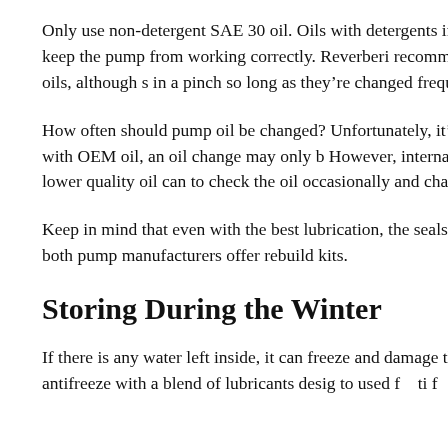Only use non-detergent SAE 30 oil. Oils with detergents in them leave deposits that will keep the pump from working correctly. Reverberi recommend using their own hydraulic oils, although s in a pinch so long as they're changed frequently.
How often should pump oil be changed? Unfortunately, it's hard Under ideal conditions with OEM oil, an oil change may only b However, internal leaks, heavy loads, and lower quality oil can to check the oil occasionally and change it if there is any sign o
Keep in mind that even with the best lubrication, the seals inside years. Fortunately, both pump manufacturers offer rebuild kits.
Storing During the Winter
If there is any water left inside, it can freeze and damage the pu special “pump saver” antifreeze with a blend of lubricants desig to used f ti f d h If th